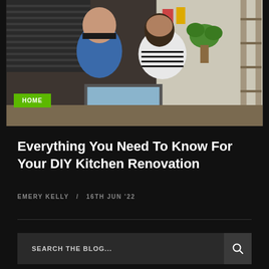[Figure (photo): A man and woman looking at something together in a kitchen setting, with shelves and a plant in the background]
HOME
Everything You Need To Know For Your DIY Kitchen Renovation
EMERY KELLY / 16TH JUN '22
SEARCH THE BLOG...